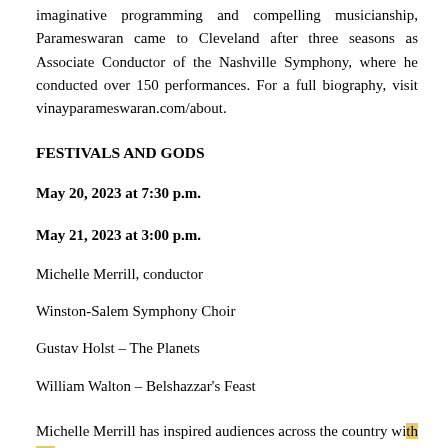imaginative programming and compelling musicianship, Parameswaran came to Cleveland after three seasons as Associate Conductor of the Nashville Symphony, where he conducted over 150 performances. For a full biography, visit vinayparameswaran.com/about.
FESTIVALS AND GODS
May 20, 2023 at 7:30 p.m.
May 21, 2023 at 3:00 p.m.
Michelle Merrill, conductor
Winston-Salem Symphony Choir
Gustav Holst – The Planets
William Walton – Belshazzar's Feast
Michelle Merrill has inspired audiences across the country with her detailed and vibrant performances. A passionate and dynamic artist, she